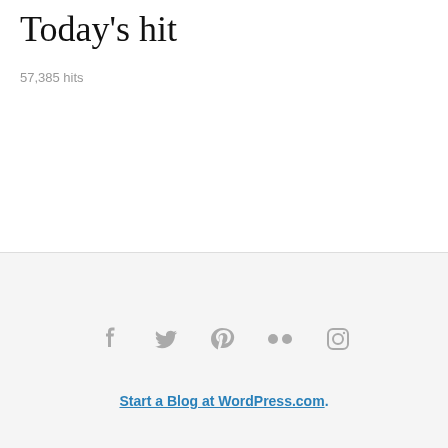Today's hit
57,385 hits
[Figure (other): Follow RED RIDING HOOD button with WordPress logo icon in teal/blue color]
[Figure (other): Social media icons row: Facebook, Twitter, Pinterest, Flickr, Instagram in gray]
Start a Blog at WordPress.com.